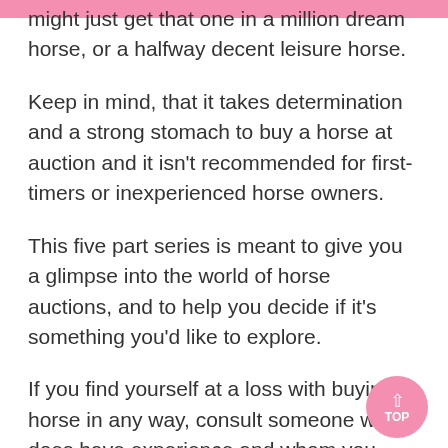might just get that one in a million dream horse, or a halfway decent leisure horse.
Keep in mind, that it takes determination and a strong stomach to buy a horse at auction and it isn't recommended for first-timers or inexperienced horse owners.
This five part series is meant to give you a glimpse into the world of horse auctions, and to help you decide if it's something you'd like to explore.
If you find yourself at a loss with buying a horse in any way, consult someone who does have experience and whom you trust.
You can't save them all